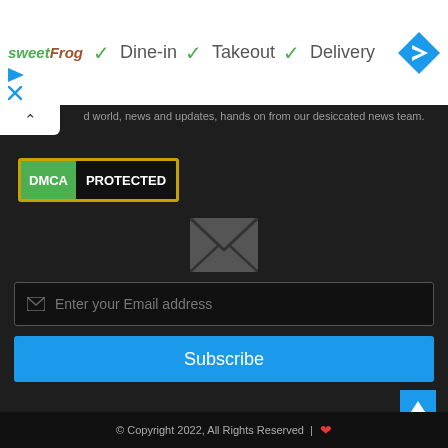[Figure (screenshot): sweetFrog logo and service options: Dine-in, Takeout, Delivery with checkmarks and navigation arrow icon]
d world, news and updates, hands on from our desiccated news team.
[Figure (logo): DMCA PROTECTED badge with green DMCA label and black PROTECTED label, gold border]
[Figure (illustration): Large envelope icon in grey]
Enter your Email address
Subscribe
© Copyright 2022, All Rights Reserved | ❤